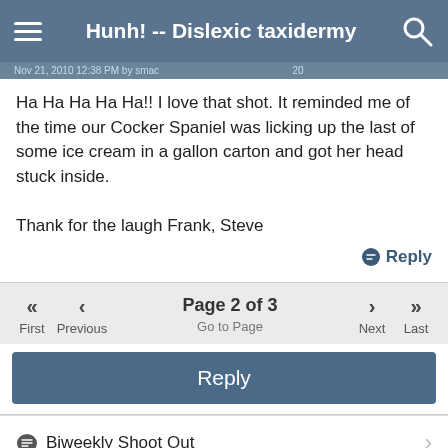Hunh! -- Dislexic taxidermy
Ha Ha Ha Ha Ha!! I love that shot. It reminded me of the time our Cocker Spaniel was licking up the last of some ice cream in a gallon carton and got her head stuck inside.

Thank for the laugh Frank, Steve
Reply
Page 2 of 3 | First | Previous | Go to Page | Next | Last
Reply
Biweekly Shoot Out
Today's Posts